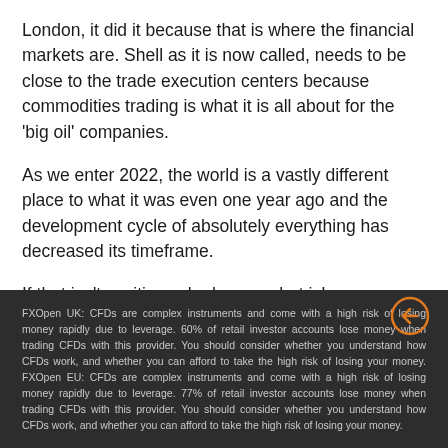London, it did it because that is where the financial markets are. Shell as it is now called, needs to be close to the trade execution centers because commodities trading is what it is all about for the 'big oil' companies.
As we enter 2022, the world is a vastly different place to what it was even one year ago and the development cycle of absolutely everything has decreased its timeframe.
If that isn't exciting, who knows what is!
FXOpen UK: CFDs are complex instruments and come with a high risk of losing money rapidly due to leverage. 60% of retail investor accounts lose money when trading CFDs with this provider. You should consider whether you understand how CFDs work, and whether you can afford to take the high risk of losing your money. FXOpen EU: CFDs are complex instruments and come with a high risk of losing money rapidly due to leverage. 77% of retail investor accounts lose money when trading CFDs with this provider. You should consider whether you understand how CFDs work, and whether you can afford to take the high risk of losing your money.